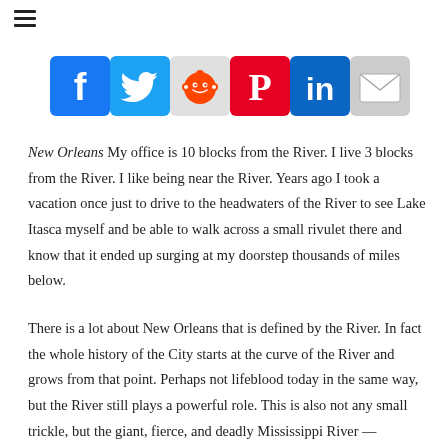[Figure (infographic): Social media share icons: Facebook (blue), Twitter (light blue), Reddit (grey/orange), Pinterest (red), LinkedIn (dark blue), Email (grey)]
New Orleans My office is 10 blocks from the River. I live 3 blocks from the River. I like being near the River. Years ago I took a vacation once just to drive to the headwaters of the River to see Lake Itasca myself and be able to walk across a small rivulet there and know that it ended up surging at my doorstep thousands of miles below.
There is a lot about New Orleans that is defined by the River. In fact the whole history of the City starts at the curve of the River and grows from that point. Perhaps not lifeblood today in the same way, but the River still plays a powerful role. This is also not any small trickle, but the giant, fierce, and deadly Mississippi River —